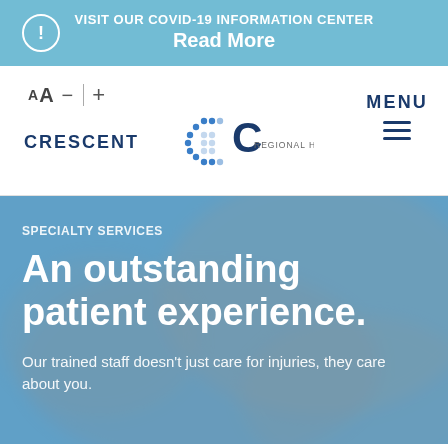VISIT OUR COVID-19 INFORMATION CENTER
Read More
[Figure (screenshot): Crescent Regional Hospital logo with stylized C icon made of blue dots]
AA - | +
MENU
[Figure (photo): Hero background photo: hands of medical staff and patient with blue overlay]
SPECIALTY SERVICES
An outstanding patient experience.
Our trained staff doesn't just care for injuries, they care about you.